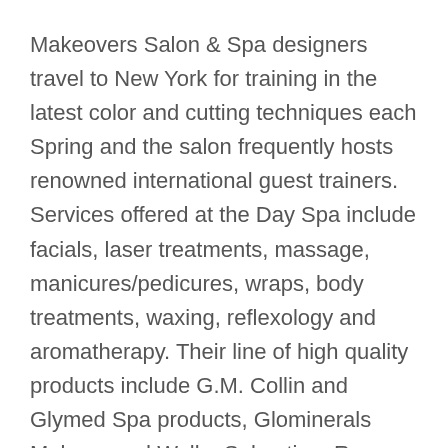Makeovers Salon & Spa designers travel to New York for training in the latest color and cutting techniques each Spring and the salon frequently hosts renowned international guest trainers. Services offered at the Day Spa include facials, laser treatments, massage, manicures/pedicures, wraps, body treatments, waxing, reflexology and aromatherapy. Their line of high quality products include G.M. Collin and Glymed Spa products, Glominerals Makeup and Wella, Sebastian, Rene Furtier, Alterna and Icon hair care products.
Makeovers Salon & Spa is located at 574 Washington Street in Easton, MA. For more